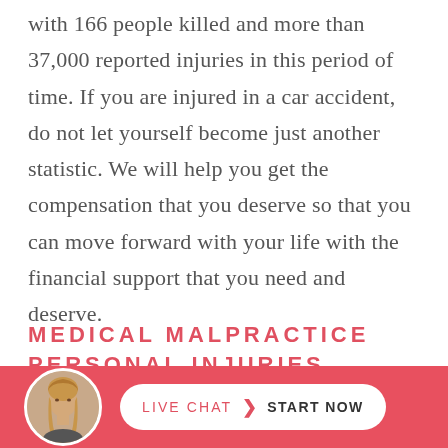with 166 people killed and more than 37,000 reported injuries in this period of time. If you are injured in a car accident, do not let yourself become just another statistic. We will help you get the compensation that you deserve so that you can move forward with your life with the financial support that you need and deserve.
MEDICAL MALPRACTICE
PERSONAL INJURIES
[Figure (photo): Circular avatar photo of a woman with long blonde hair]
LIVE CHAT  START NOW